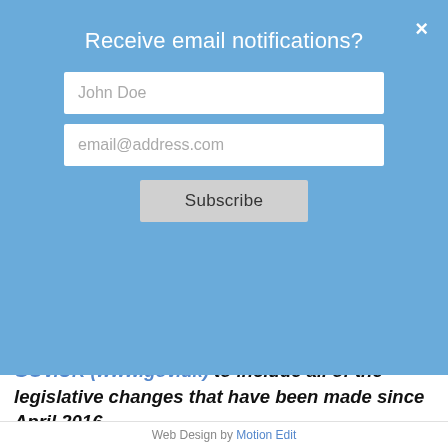Receive email notifications?
[Figure (screenshot): Email subscription modal with name field (John Doe), email field (email@address.com), and Subscribe button, with a close (x) button in the top right.]
GOV.UK (www.gov.uk) to include all of the legislative changes that have been made since April 2016.

This guidance should be read alongside the Statutory guidance for police on firearms licensing – GOV.UK (www.gov.uk), which was published on 20 October and came into effect on 1 November.
Web Design by Motion Edit